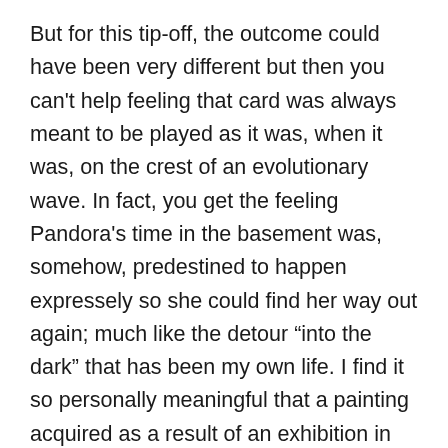But for this tip-off, the outcome could have been very different but then you can't help feeling that card was always meant to be played as it was, when it was, on the crest of an evolutionary wave. In fact, you get the feeling Pandora's time in the basement was, somehow, predestined to happen expressely so she could find her way out again; much like the detour “into the dark” that has been my own life. I find it so personally meaningful that a painting acquired as a result of an exhibition in the year my father was born (who stood like a concrete breeze block representing the Seventh Wave aspect in my life… and who had recently died when the painting was refound) had been removed from St Andrews by the time I arrived at the university that he believed I was unsuited for, being a female. It is with great fondness, love and respect that I remember my father but this does not prevent me from